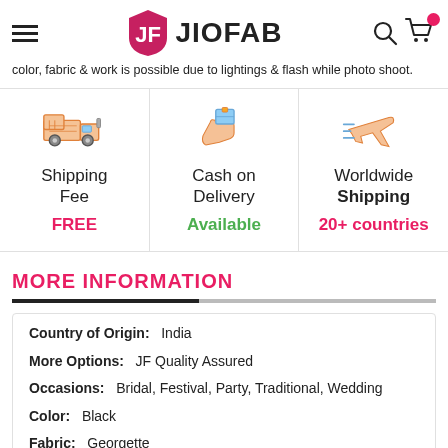JIOFAB
color, fabric & work is possible due to lightings & flash while photo shoot.
[Figure (infographic): Three feature icons: Shipping Fee (truck icon) FREE, Cash on Delivery (hand with package icon) Available, Worldwide Shipping (airplane icon) 20+ countries]
MORE INFORMATION
| Country of Origin: | India |
| More Options: | JF Quality Assured |
| Occasions: | Bridal, Festival, Party, Traditional, Wedding |
| Color: | Black |
| Fabric: | Georgette |
| Style: | Bollywood |